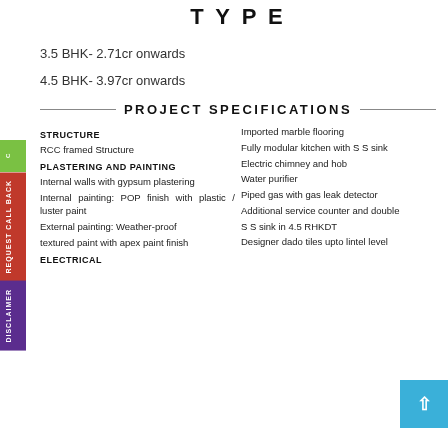TYPE
3.5 BHK- 2.71cr onwards
4.5 BHK- 3.97cr onwards
PROJECT SPECIFICATIONS
STRUCTURE
RCC framed Structure
PLASTERING AND PAINTING
Internal walls with gypsum plastering
Internal painting: POP finish with plastic / luster paint
External painting: Weather-proof
textured paint with apex paint finish
ELECTRICAL
Imported marble flooring
Fully modular kitchen with S S sink
Electric chimney and hob
Water purifier
Piped gas with gas leak detector
Additional service counter and double
S S sink in 4.5 RHKDT
Designer dado tiles upto lintel level